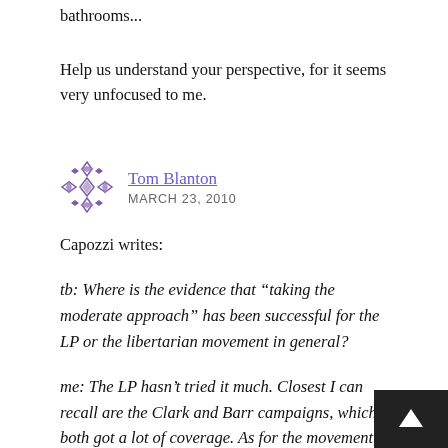bathrooms...
Help us understand your perspective, for it seems very unfocused to me.
Tom Blanton
MARCH 23, 2010
Capozzi writes:
tb: Where is the evidence that “taking the moderate approach” has been successful for the LP or the libertarian movement in general?
me: The LP hasn’t tried it much. Closest I can recall are the Clark and Barr campaigns, which both got a lot of coverage. As for the movement, compare and contrast the influence of Cato and LvMI.
Since when is getting media coverage the same as achieving political success? Balloon Boy gets media coverage. If media coverage is success, LP candidates should be as outrageous as possible. That would assure media coverage. Clark bought h